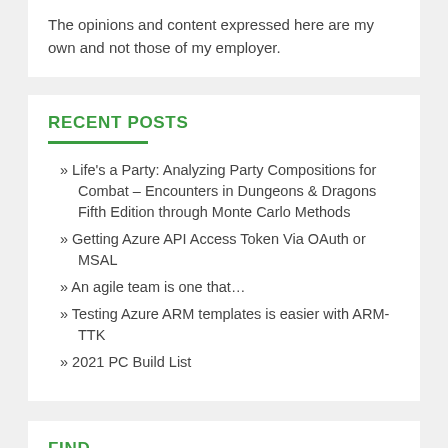The opinions and content expressed here are my own and not those of my employer.
RECENT POSTS
» Life's a Party: Analyzing Party Compositions for Combat – Encounters in Dungeons & Dragons Fifth Edition through Monte Carlo Methods
» Getting Azure API Access Token Via OAuth or MSAL
» An agile team is one that…
» Testing Azure ARM templates is easier with ARM-TTK
» 2021 PC Build List
FIND